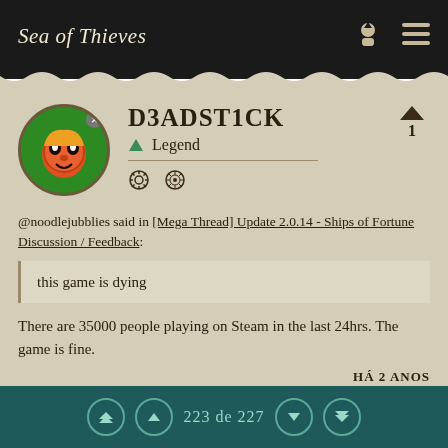Sea of Thieves
D3ADST1CK
Legend
@noodlejubblies said in [Mega Thread] Update 2.0.14 - Ships of Fortune Discussion / Feedback:
this game is dying
There are 35000 people playing on Steam in the last 24hrs. The game is fine.
HÁ 2 ANOS
223 de 227